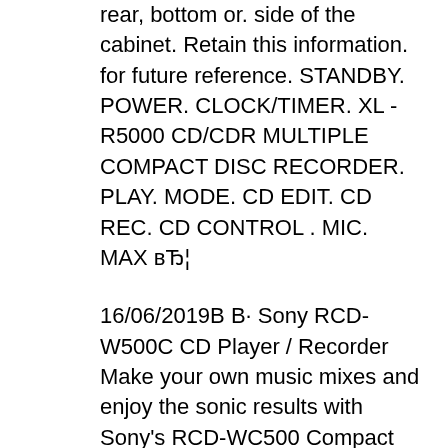rear, bottom or. side of the cabinet. Retain this information. for future reference. STANDBY. POWER. CLOCK/TIMER. XL - R5000 CD/CDR MULTIPLE COMPACT DISC RECORDER. PLAY. MODE. CD EDIT. CD REC. CD CONTROL . MIC. MAX вЂ¦
16/06/2019В В· Sony RCD-W500C CD Player / Recorder Make your own music mixes and enjoy the sonic results with Sony's RCD-WC500 Compact Disc Player/Recorder. Featuring a 5-CD/Dual Deck with 4x High Speed Dubbing and CD, CD-R, CD-RW, and MP3 Playback Capability*, this product records CD-Recordable and CD-ReWritable Discs*, offers SBM - Super Bit MappingВ®